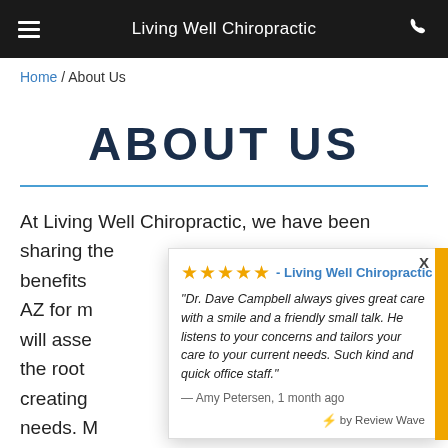Living Well Chiropractic
Home / About Us
ABOUT US
At Living Well Chiropractic, we have been sharing the benefits of chiropractic care with the greater Elt, AZ for m... will asse... the root... creating... needs. M...
[Figure (screenshot): Review widget popup showing 5-star rating for Living Well Chiropractic. Quote from Amy Petersen: 'Dr. Dave Campbell always gives great care with a smile and a friendly small talk. He listens to your concerns and tailors your care to your current needs. Such kind and quick office staff.' — Amy Petersen, 1 month ago. Powered by Review Wave.]